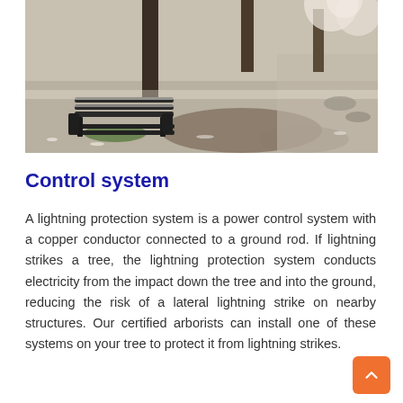[Figure (photo): Outdoor park scene with a black metal bench covered in fallen white cherry blossom petals on a gravel path, with tree trunks and blooming trees in the background.]
Control system
A lightning protection system is a power control system with a copper conductor connected to a ground rod. If lightning strikes a tree, the lightning protection system conducts electricity from the impact down the tree and into the ground, reducing the risk of a lateral lightning strike on nearby structures. Our certified arborists can install one of these systems on your tree to protect it from lightning strikes.